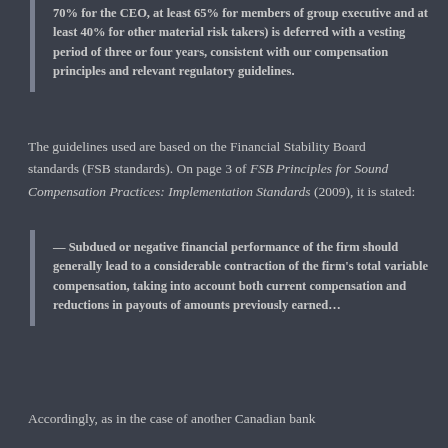70% for the CEO, at least 65% for members of group executive and at least 40% for other material risk takers) is deferred with a vesting period of three or four years, consistent with our compensation principles and relevant regulatory guidelines.
The guidelines used are based on the Financial Stability Board standards (FSB standards). On page 3 of FSB Principles for Sound Compensation Practices: Implementation Standards (2009), it is stated:
— Subdued or negative financial performance of the firm should generally lead to a considerable contraction of the firm's total variable compensation, taking into account both current compensation and reductions in payouts of amounts previously earned…
Accordingly, as in the case of another Canadian bank